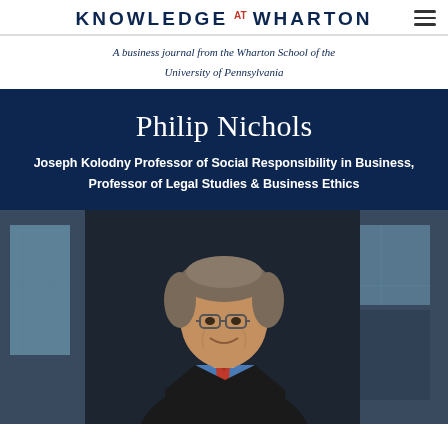KNOWLEDGE AT WHARTON
A business journal from the Wharton School of the University of Pennsylvania
Philip Nichols
Joseph Kolodny Professor of Social Responsibility in Business, Professor of Legal Studies & Business Ethics
[Figure (photo): Professional headshot of Philip Nichols, a man with glasses and gray-brown hair, wearing a dark suit jacket, blue shirt, and red tie, smiling, photographed in front of glass windows]